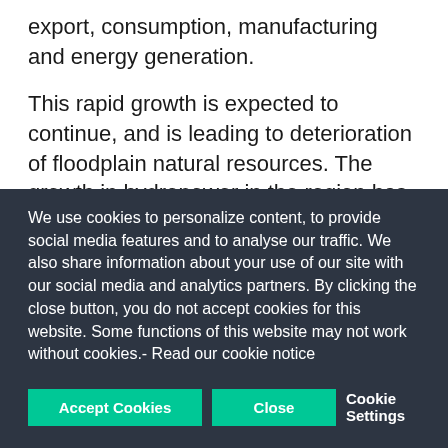export, consumption, manufacturing and energy generation.
This rapid growth is expected to continue, and is leading to deterioration of floodplain natural resources. The growth in hydropower in the region has also concerned conservationists and scientists, who perceive it as a threat to the river's biodiversity and community livelihoods. The impacts of area dams however are still not fully understood, and this
We use cookies to personalize content, to provide social media features and to analyse our traffic. We also share information about your use of our site with our social media and analytics partners. By clicking the close button, you do not accept cookies for this website. Some functions of this website may not work without cookies.- Read our cookie notice